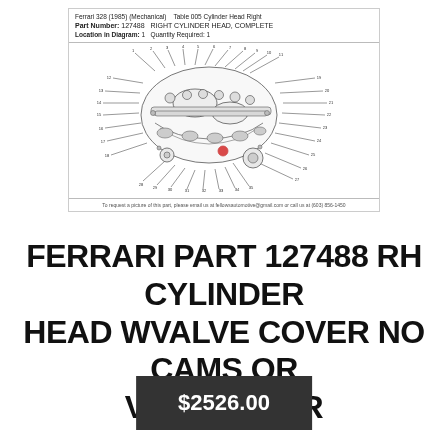[Figure (schematic): Ferrari 328 (1985) Mechanical parts diagram showing Table 005 Cylinder Head Right. Part Number 127488 RIGHT CYLINDER HEAD, COMPLETE. Location in Diagram: 1, Quantity Required: 1. Detailed exploded schematic drawing of cylinder head components with numbered callouts.]
FERRARI PART 127488 RH CYLINDER HEAD WVALVE COVER NO CAMS OR VALVE GEAR
$2526.00